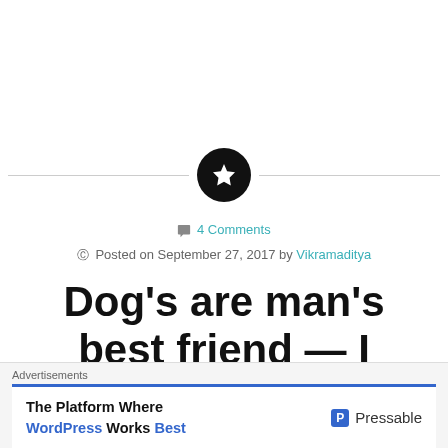[Figure (illustration): Horizontal divider line with a black circle containing a white star icon in the center]
💬 4 Comments
© Posted on September 27, 2017 by Vikramaditya
Dog's are man's best friend — I
Dogs are man's best friend
[Figure (other): Advertisement banner: 'The Platform Where WordPress Works Best' with Pressable logo]